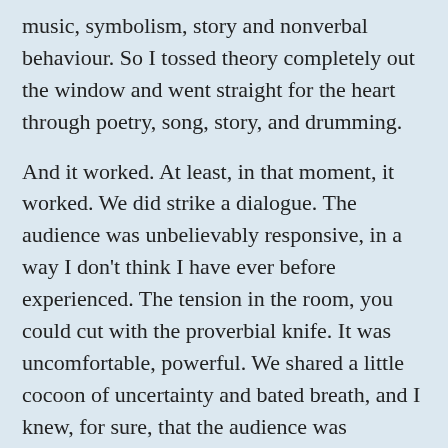music, symbolism, story and nonverbal behaviour.  So I tossed theory completely out the window and went straight for the heart through poetry, song, story, and drumming.
And it worked.  At least, in that moment, it worked.  We did strike a dialogue.  The audience was unbelievably responsive, in a way I don't think I have ever before experienced.  The tension in the room, you could cut with the proverbial knife.  It was uncomfortable, powerful.  We shared a little cocoon of uncertainty and bated breath, and I knew, for sure, that the audience was THERE with me.
This journey from academia to, basically, performance art, has been a fascinating one for me. I have learned an incredible amount, and to be honest, I'm pleased with the outcome. I didn't know how the third talk, in